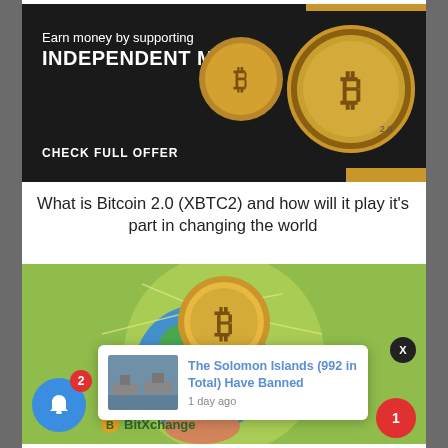[Figure (illustration): Dark-background advertisement banner with Bitcoin coins. Text reads 'Earn money by supporting INDEPENDENT MEDIA' and 'CHECK FULL OFFER'. Gold Bitcoin coins visible on right side.]
What is Bitcoin 2.0 (XBTC2) and how will it play it's part in changing the world
[Figure (illustration): Green background illustration showing a Bitcoin coin logo over a globe (Earth), with network lines connecting across the globe. A hand is shown holding the globe from below.]
The Solomon Islands (992 in Total) Have Banned
1 day ago